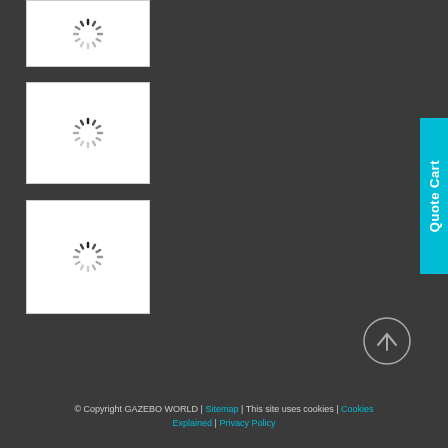[Figure (screenshot): Loading spinner on white card background, top card]
[Figure (screenshot): Loading spinner on white card background, middle card]
[Figure (screenshot): Loading spinner on white card background, bottom card]
Quote Cart
[Figure (other): Scroll to top circular button with upward arrow]
© Copyright GAZEBO WORLD | Sitemap | This site uses cookies | Cookies Explained | Privacy Policy